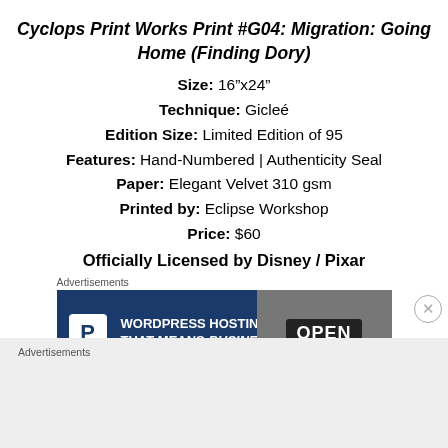Cyclops Print Works Print #G04: Migration: Going Home (Finding Dory)
Size: 16”x24”
Technique: Gicleé
Edition Size: Limited Edition of 95
Features: Hand-Numbered | Authenticity Seal
Paper: Elegant Velvet 310 gsm
Printed by: Eclipse Workshop
Price: $60
Officially Licensed by Disney / Pixar
Advertisements
[Figure (other): Advertisement banner: WordPress Hosting That Means Business. with P logo and OPEN sign photo]
REPORT THIS AD
Advertisements